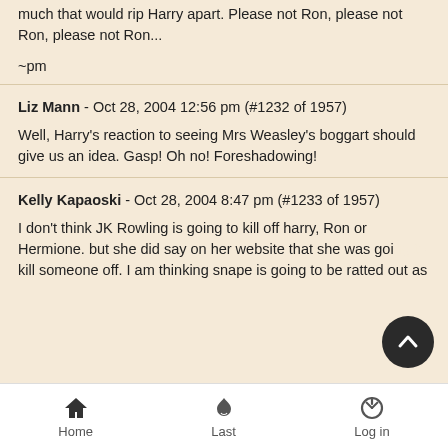much that would rip Harry apart. Please not Ron, please not Ron, please not Ron...
~pm
Liz Mann - Oct 28, 2004 12:56 pm (#1232 of 1957)
Well, Harry's reaction to seeing Mrs Weasley's boggart should give us an idea. Gasp! Oh no! Foreshadowing!
Kelly Kapaoski - Oct 28, 2004 8:47 pm (#1233 of 1957)
I don't think JK Rowling is going to kill off harry, Ron or Hermione. but she did say on her website that she was going to kill someone off. I am thinking snape is going to be ratted out as
Home  Last  Log in